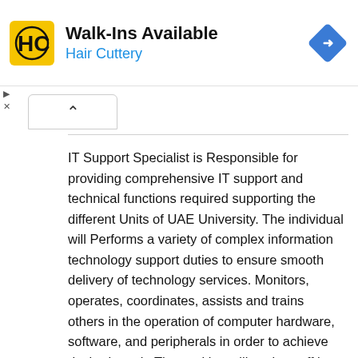[Figure (logo): Hair Cuttery ad banner with yellow HC logo, 'Walk-Ins Available' heading, 'Hair Cuttery' company name in blue, and a blue navigation diamond icon]
IT Support Specialist is Responsible for providing comprehensive IT support and technical functions required supporting the different Units of UAE University. The individual will Performs a variety of complex information technology support duties to ensure smooth delivery of technology services. Monitors, operates, coordinates, assists and trains others in the operation of computer hardware, software, and peripherals in order to achieve desired result. The position will assist staff in UAEU campuses and remote locations with technical support to ensure the reliability and sustainability of information and communication resources - Troubleshoots, repairs and